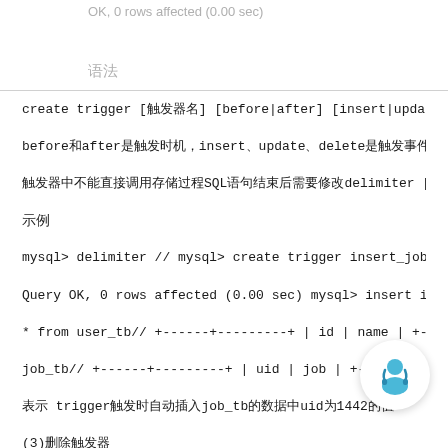OK, 0 rows affected (0.00 sec)
语法
create trigger [触发器名] [before|after] [insert|update|delete] on [表名] for each row begin [SQL语句] end delimiter [结束符号]
before和after是触发的时机，insert、update和delete是触发的事件
触发器中不能直接调用存储过程，SQL语句结束后需要修改delimiter [结束符号]
示例
mysql> delimiter // mysql> create trigger insert_job after insert on us...
Query OK, 0 rows affected (0.00 sec) mysql> insert into user_tb valu...
* from user_tb// +------+---------+ | id | name | +------+---------+ | 1 | 张三 |
job_tb// +------+---------+ | uid | job | +------+---------+ | ...  ------+-...
表示 trigger触发时自动插入job_tb表，id为1442的值
(3)删除触发器